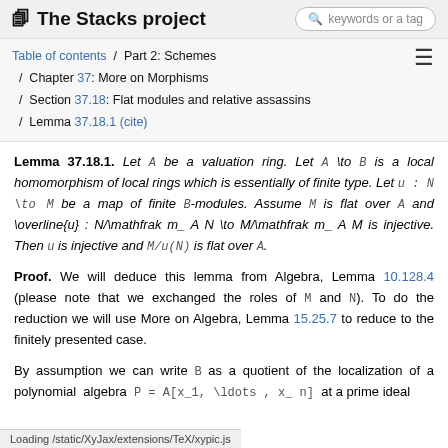The Stacks project
Table of contents / Part 2: Schemes / Chapter 37: More on Morphisms / Section 37.18: Flat modules and relative assassins / Lemma 37.18.1 (cite)
Lemma 37.18.1. Let A be a valuation ring. Let A \to B is a local homomorphism of local rings which is essentially of finite type. Let u : N \to M be a map of finite B-modules. Assume M is flat over A and \overline{u} : N/\mathfrak m_ A N \to M/\mathfrak m_ A M is injective. Then u is injective and M/u(N) is flat over A.
Proof. We will deduce this lemma from Algebra, Lemma 10.128.4 (please note that we exchanged the roles of M and N). To do the reduction we will use More on Algebra, Lemma 15.25.7 to reduce to the finitely presented case.
By assumption we can write B as a quotient of the localization of a polynomial algebra P = A[x_1, \ldots , x_ n] at a prime ideal ... u : N \to M as a map of finite
Loading /static/XyJax/extensions/TeX/xypic.js